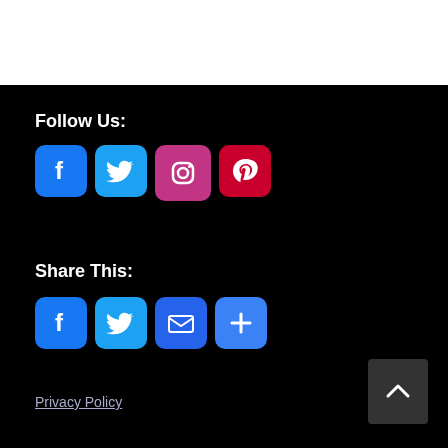Follow Us:
[Figure (infographic): Social media follow icons: Facebook (blue), Twitter (blue), Instagram (gradient), Pinterest (red)]
Share This:
[Figure (infographic): Social share icons: Facebook (blue), Twitter (blue), Email (blue), More/Plus (blue)]
Privacy Policy
[Figure (other): Back to top button with upward chevron arrow on dark grey background]